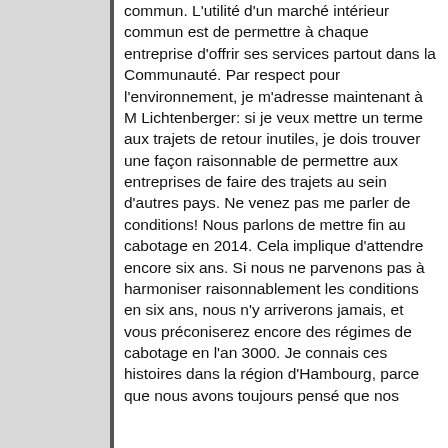commun. L'utilité d'un marché intérieur commun est de permettre à chaque entreprise d'offrir ses services partout dans la Communauté. Par respect pour l'environnement, je m'adresse maintenant à M Lichtenberger: si je veux mettre un terme aux trajets de retour inutiles, je dois trouver une façon raisonnable de permettre aux entreprises de faire des trajets au sein d'autres pays. Ne venez pas me parler de conditions! Nous parlons de mettre fin au cabotage en 2014. Cela implique d'attendre encore six ans. Si nous ne parvenons pas à harmoniser raisonnablement les conditions en six ans, nous n'y arriverons jamais, et vous préconiserez encore des régimes de cabotage en l'an 3000. Je connais ces histoires dans la région d'Hambourg, parce que nous avons toujours pensé que nos